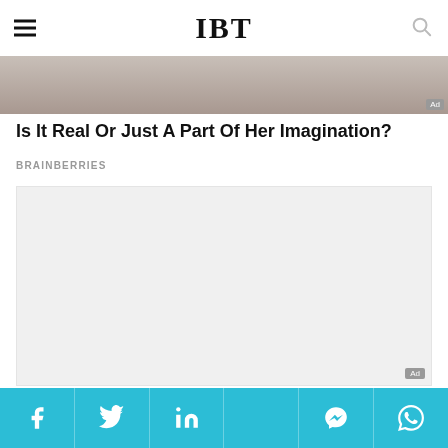IBT
[Figure (photo): Partial view of a person, used as advertisement image strip at top]
Is It Real Or Just A Part Of Her Imagination?
BRAINBERRIES
[Figure (photo): Large advertisement image block with light gray background and Ad badge]
Enter Zitzmann With His Uncanny Rendition Of “Unchained Melody”
BRAINBERRIES
Social share bar: Facebook, Twitter, LinkedIn, [unknown], Messenger, WhatsApp